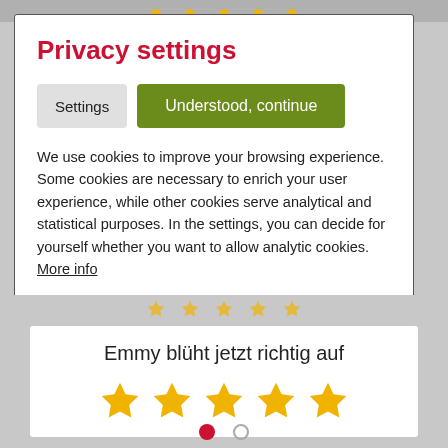[Figure (screenshot): Top partial star rating row visible at top of page]
Privacy settings
We use cookies to improve your browsing experience. Some cookies are necessary to enrich your user experience, while other cookies serve analytical and statistical purposes. In the settings, you can decide for yourself whether you want to allow analytic cookies. More info
[Figure (screenshot): Partial star rating row visible below modal]
Emmy blüht jetzt richtig auf
[Figure (other): Five gold stars rating display]
[Figure (other): Pagination dots: one filled red, one empty]